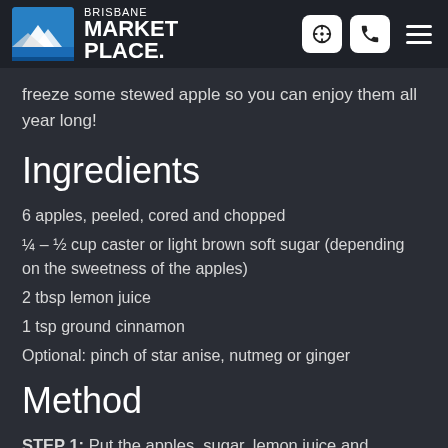BRISBANE MARKET PLACE.
freeze some stewed apple so you can enjoy them all year long!
Ingredients
6 apples, peeled, cored and chopped
¼ – ½ cup caster or light brown soft sugar (depending on the sweetness of the apples)
2 tbsp lemon juice
1 tsp ground cinnamon
Optional: pinch of star anise, nutmeg or ginger
Method
STEP 1: Put the apples, sugar, lemon juice and cinnamon (plus optional spices) in a small pan with 2 tbsp water. Cover and cook over a medium heat for 5-10 mins, or until the